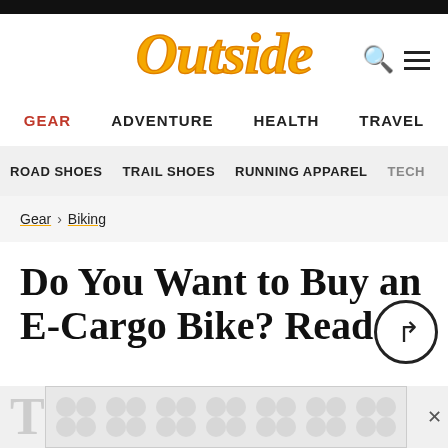Outside
GEAR  ADVENTURE  HEALTH  TRAVEL
ROAD SHOES  TRAIL SHOES  RUNNING APPAREL  TECH
Gear > Biking
Do You Want to Buy an E-Cargo Bike? Read
[Figure (other): Advertisement banner with circular pattern motif and close button]